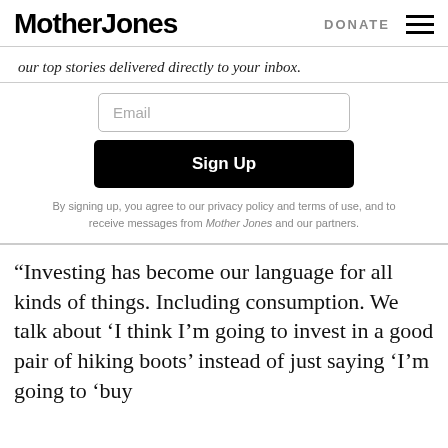Mother Jones | DONATE
our top stories delivered directly to your inbox.
Email
Sign Up
By signing up, you agree to our privacy policy and terms of use, and to receive messages from Mother Jones and our partners.
“Investing has become our language for all kinds of things. Including consumption. We talk about ‘I think I’m going to invest in a good pair of hiking boots’ instead of just saying ‘I’m going to ‘buy